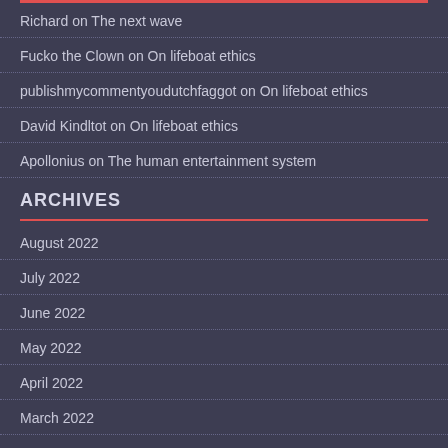Richard on The next wave
Fucko the Clown on On lifeboat ethics
publishmycommentyoudutchfaggot on On lifeboat ethics
David Kindltot on On lifeboat ethics
Apollonius on The human entertainment system
ARCHIVES
August 2022
July 2022
June 2022
May 2022
April 2022
March 2022